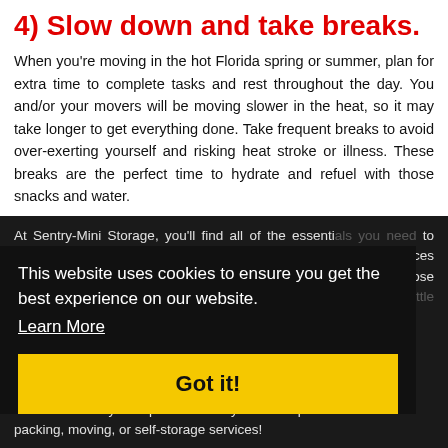4) Slow down and take breaks.
When you're moving in the hot Florida spring or summer, plan for extra time to complete tasks and rest throughout the day. You and/or your movers will be moving slower in the heat, so it may take longer to get everything done. Take frequent breaks to avoid over-exerting yourself and risking heat stroke or illness. These breaks are the perfect time to hydrate and refuel with those snacks and water.
At Sentry-Mini Storage, you'll find all of the essentials you need to make your move a smooth one. We offer a variety of services including storage, Climate-controlled self-storage to safely house those belongings you plan on finding a spot for in your new home a little later.
This website uses cookies to ensure you get the best experience on our website.
Learn More
Got it!
Contact us today to inquire about any of our helpful packing, moving, or self-storage services!